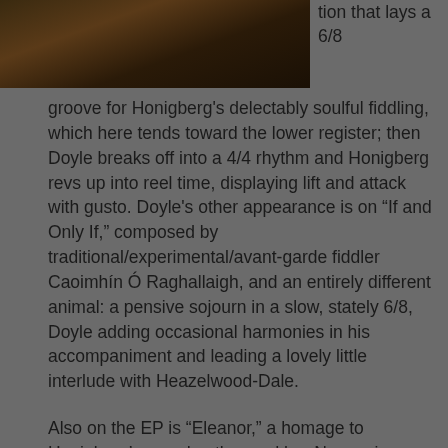[Figure (photo): Dark, warm-toned photograph, partially visible at the top of the page, showing a dimly lit scene with brown and dark tones.]
tion that lays a 6/8 groove for Honigberg's delectably soulful fiddling, which here tends toward the lower register; then Doyle breaks off into a 4/4 rhythm and Honigberg revs up into reel time, displaying lift and attack with gusto. Doyle's other appearance is on “If and Only If,” composed by traditional/experimental/avant-garde fiddler Caoimhín Ó Raghallaigh, and an entirely different animal: a pensive sojourn in a slow, stately 6/8, Doyle adding occasional harmonies in his accompaniment and leading a lovely little interlude with Heazelwood-Dale.
Also on the EP is “Eleanor,” a homage to Honigberg’s grandmother and her Norwegian ancestry that was inspired by Swedish-born accordionist Sunniva Brynnel, a former member of Night Tree. Honigberg